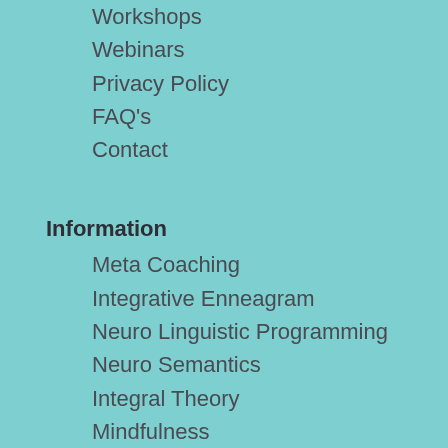Workshops
Webinars
Privacy Policy
FAQ's
Contact
Information
Meta Coaching
Integrative Enneagram
Neuro Linguistic Programming
Neuro Semantics
Integral Theory
Mindfulness
Generative Trance
Subscribe to Creative Edge Newsletter